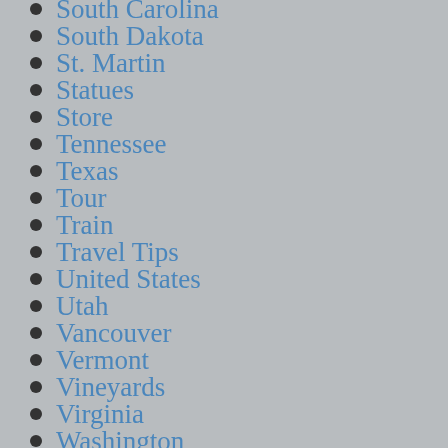South Carolina
South Dakota
St. Martin
Statues
Store
Tennessee
Texas
Tour
Train
Travel Tips
United States
Utah
Vancouver
Vermont
Vineyards
Virginia
Washington